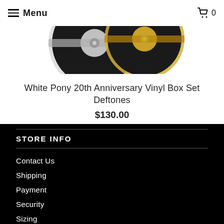Menu   0
[Figure (photo): Two vinyl records (silver and gold colored) partially visible at the top of the page against a white background]
White Pony 20th Anniversary Vinyl Box Set Deftones
$130.00
STORE INFO
Contact Us
Shipping
Payment
Security
Sizing